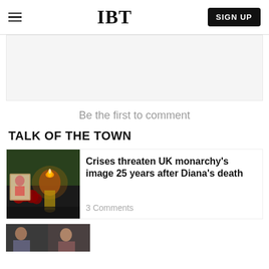IBT
[Figure (other): Light gray advertisement banner placeholder]
Be the first to comment
TALK OF THE TOWN
[Figure (photo): Photo of candles and red roses memorial tribute with a framed portrait photo, likely a Diana memorial]
Crises threaten UK monarchy's image 25 years after Diana's death
3 Comments
[Figure (photo): Partial bottom strip showing two thumbnail photos of people]